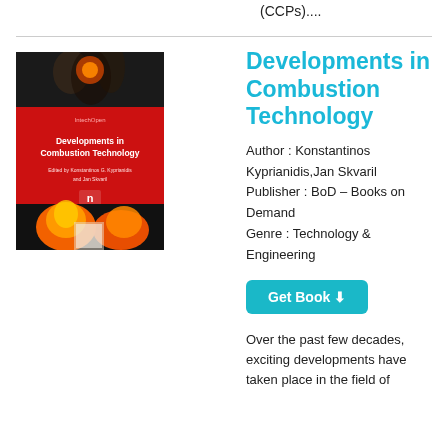(CCPs)....
[Figure (illustration): Book cover of 'Developments in Combustion Technology' edited by Konstantinos G. Kyprianidis and Jan Skvaril, published by InTech Open. Red cover with flames (orange fire) at bottom and a dark smoky top, with white text and the IntechOpen logo.]
Developments in Combustion Technology
Author : Konstantinos Kyprianidis,Jan Skvaril Publisher : BoD – Books on Demand Genre : Technology & Engineering
Get Book
Over the past few decades, exciting developments have taken place in the field of